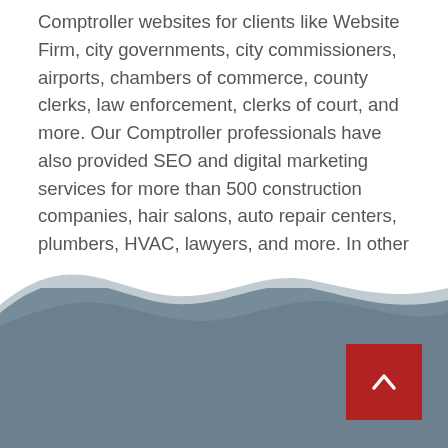Comptroller websites for clients like Website Firm, city governments, city commissioners, airports, chambers of commerce, county clerks, law enforcement, clerks of court, and more. Our Comptroller professionals have also provided SEO and digital marketing services for more than 500 construction companies, hair salons, auto repair centers, plumbers, HVAC, lawyers, and more. In other words, we have the core experience for your Comptroller website project.
[Figure (illustration): A decorative wave-shaped divider transitioning from white to a muted blue-grey footer area at the bottom of the page. The footer area is a solid blue-grey color with a wave silhouette at the top edge.]